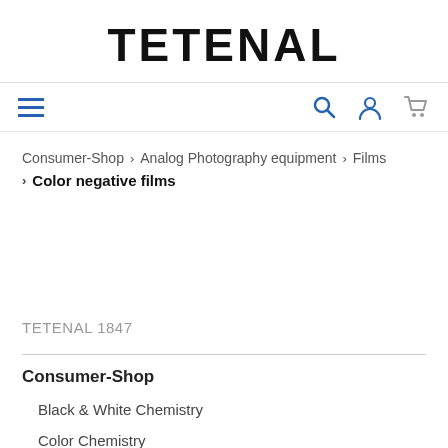TETENAL
[Figure (infographic): Navigation bar with hamburger menu icon (three horizontal lines in blue) on the left and search (magnifying glass), user (person icon), and cart (shopping cart) icons in blue/grey on the right]
Consumer-Shop > Analog Photography equipment > Films
> Color negative films
TETENAL 1847
Consumer-Shop
Black & White Chemistry
Color Chemistry